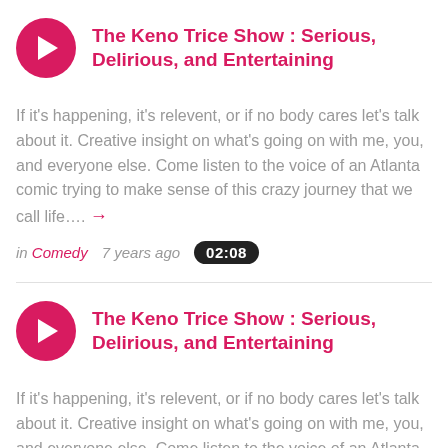The Keno Trice Show : Serious, Delirious, and Entertaining
If it's happening, it's relevent, or if no body cares let's talk about it. Creative insight on what's going on with me, you, and everyone else. Come listen to the voice of an Atlanta comic trying to make sense of this crazy journey that we call life….
in Comedy  7 years ago  02:08
The Keno Trice Show : Serious, Delirious, and Entertaining
If it's happening, it's relevent, or if no body cares let's talk about it. Creative insight on what's going on with me, you, and everyone else. Come listen to the voice of an Atlanta comic trying to make sense of this crazy journey that we